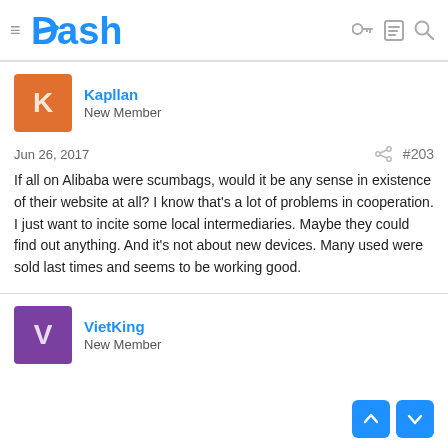Dash
Kapllan
New Member
Jun 26, 2017  #203
If all on Alibaba were scumbags, would it be any sense in existence of their website at all? I know that's a lot of problems in cooperation. I just want to incite some local intermediaries. Maybe they could find out anything. And it's not about new devices. Many used were sold last times and seems to be working good.
VietKing
New Member